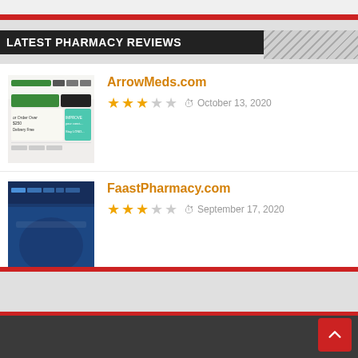LATEST PHARMACY REVIEWS
ArrowMeds.com — 3/5 stars — October 13, 2020
FaastPharmacy.com — 3/5 stars — September 17, 2020
DrugMart.com — 3.5/5 stars — September 4, 2020